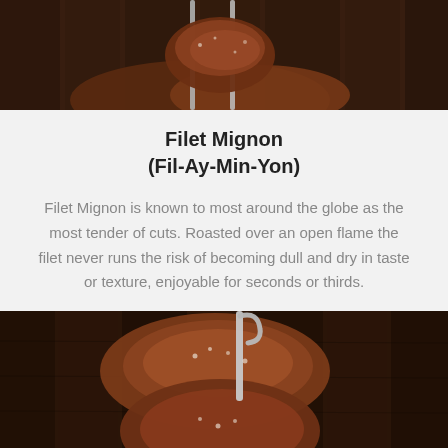[Figure (photo): Close-up photo of meat on skewers/rotisserie being roasted over open flame, dark background]
Filet Mignon (Fil-Ay-Min-Yon)
Filet Mignon is known to most around the globe as the most tender of cuts. Roasted over an open flame the filet never runs the risk of becoming dull and dry in taste or texture, enjoyable for seconds or thirds.
[Figure (photo): Photo of filet mignon cuts on metal skewers against a dark wood background, showing seasoned and roasted meat]